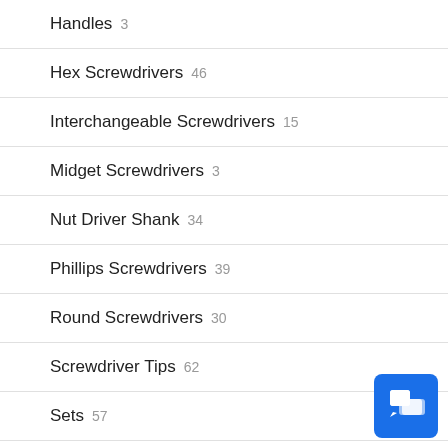Handles 3
Hex Screwdrivers 46
Interchangeable Screwdrivers 15
Midget Screwdrivers 3
Nut Driver Shank 34
Phillips Screwdrivers 39
Round Screwdrivers 30
Screwdriver Tips 62
Sets 57
Slotted Screwdrivers 19